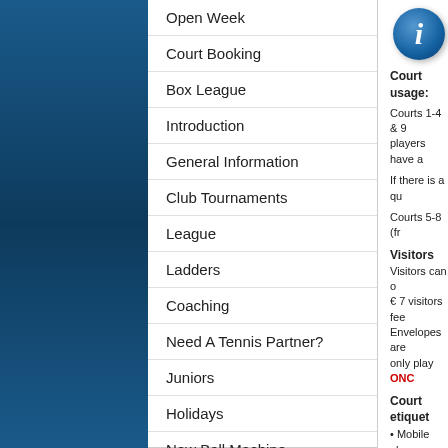Open Week
Court Booking
Box League
Introduction
General Information
Club Tournaments
League
Ladders
Coaching
Need A Tennis Partner?
Juniors
Holidays
New Ball Machine
[Figure (illustration): Blue circular information icon with italic letter i in white]
Court usage:
Courts 1-4 & 9 players have a
If there is a qu
Courts 5-8 (fr
Visitors
Visitors can o € 7 visitors fee Envelopes are only play ONC
Court etiquet
• Mobile phone
• Players shou a court if there